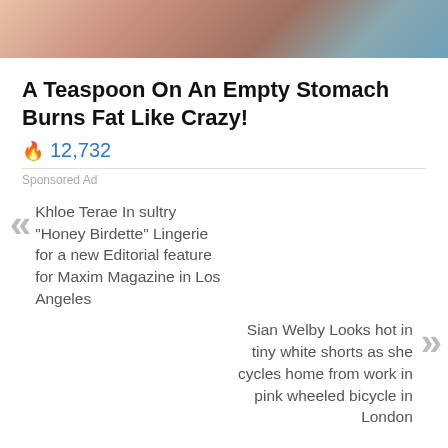[Figure (photo): Cropped photo showing a person's midsection/stomach area, partially visible at top of page]
A Teaspoon On An Empty Stomach Burns Fat Like Crazy!
🔥 12,732
Sponsored Ad
« Khloe Terae In sultry "Honey Birdette" Lingerie for a new Editorial feature for Maxim Magazine in Los Angeles
Sian Welby Looks hot in tiny white shorts as she cycles home from work in pink wheeled bicycle in London »
Related Posts via Categories